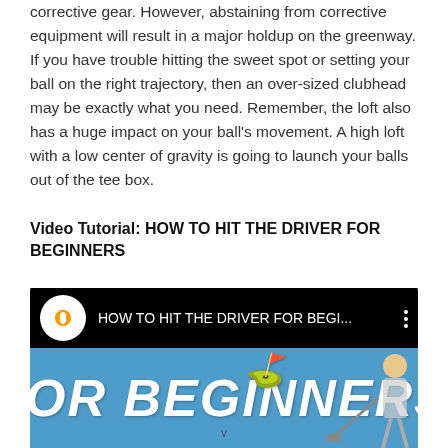corrective gear. However, abstaining from corrective equipment will result in a major holdup on the greenway. If you have trouble hitting the sweet spot or setting your ball on the right trajectory, then an over-sized clubhead may be exactly what you need. Remember, the loft also has a huge impact on your ball's movement. A high loft with a low center of gravity is going to launch your balls out of the tee box.
Video Tutorial: HOW TO HIT THE DRIVER FOR BEGINNERS
[Figure (screenshot): YouTube video thumbnail for 'HOW TO HIT THE DRIVER FOR BEGI...' showing a black top bar with orange/white logo and title, and a blue bottom section with large white italic text 'OR BEGINNERS' and a golfer with a club on the right.]
v